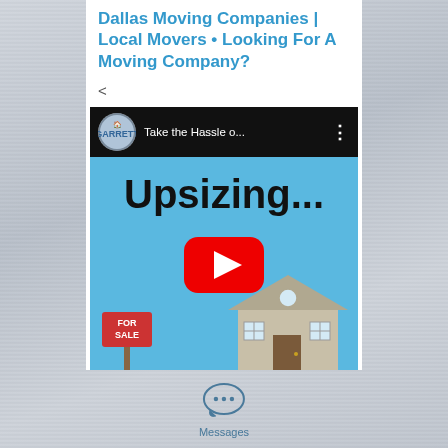Dallas Moving Companies | Local Movers • Looking For A Moving Company?
<
[Figure (screenshot): YouTube video thumbnail showing 'Take the Hassle o...' title with Garrett's Moving logo avatar, large 'Upsizing...' text on sky blue background, red YouTube play button, cartoon house illustration, and For Sale sign]
[Figure (other): Messages app icon with speech bubble containing three dots]
Messages